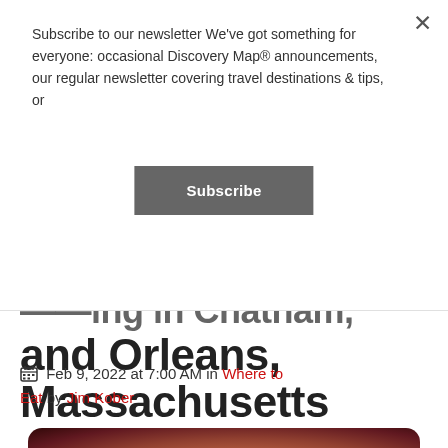Subscribe to our newsletter We've got something for everyone: occasional Discovery Map® announcements, our regular newsletter covering travel destinations & tips, or
Subscribe
Cooking in Chatham, and Orleans, Massachusetts
Feb 9, 2022 at 7:00 AM in Where to Eat by Jim Kober
[Figure (photo): Photo of seafood dish with lobster/shrimp on a white plate, partially visible at bottom of page]